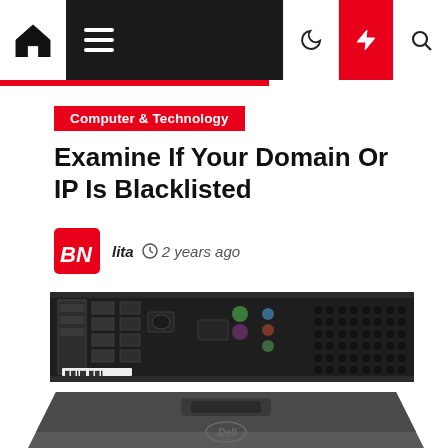Navigation bar with home, menu, dark mode, lightning, and search icons
Computer & Technology
Examine If Your Domain Or IP Is Blacklisted
lita  2 years ago
[Figure (photo): Back panel of a rack-mounted server showing ports, connectors, and ventilation holes]
[Figure (photo): Top/angled view of a rack-mounted server unit showing its dark gray casing with a handle cutout and Dell logo]